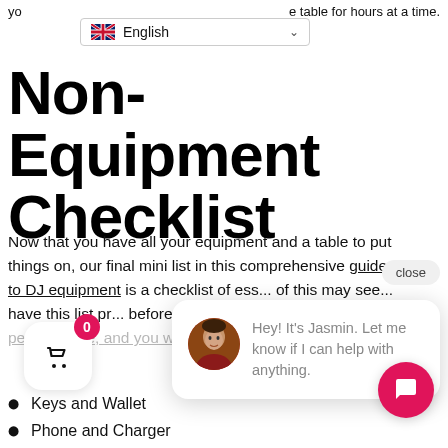yo... e table for hours at a time.
[Figure (screenshot): Language selector dropdown showing English with UK flag and chevron]
Non-Equipment Checklist
Now that you have all your equipment and a table to put things on, our final mini list in this comprehensive guide to DJ equipment is a checklist of ess... of this may see... have this list pr... before a gig. Th... you pack for your performance, and you won fore... anything.
[Figure (screenshot): Chat widget popup showing avatar of Jasmin with message: Hey! It's Jasmin. Let me know if I can help with anything. Close button visible.]
Keys and Wallet
Phone and Charger